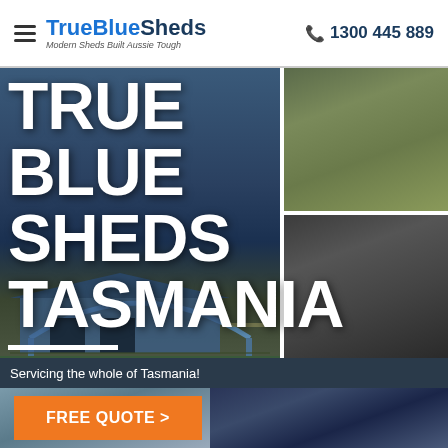TrueBlueSheds — Modern Sheds Built Aussie Tough | ☎ 1300 445 889
[Figure (photo): Hero image collage of True Blue Sheds product photos — large open carport structure, green farm field, steel shed building with blue sky, dark metal shed with roller door]
TRUE BLUE SHEDS TASMANIA
Servicing the whole of Tasmania!
FREE QUOTE >